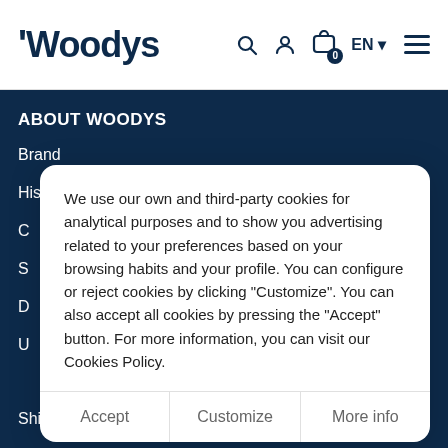Woodys - EN - navigation header with search, user, cart icons
ABOUT WOODYS
Brand
History
We use our own and third-party cookies for analytical purposes and to show you advertising related to your preferences based on your browsing habits and your profile. You can configure or reject cookies by clicking "Customize". You can also accept all cookies by pressing the "Accept" button. For more information, you can visit our Cookies Policy.
Accept
Customize
More info
Shipping